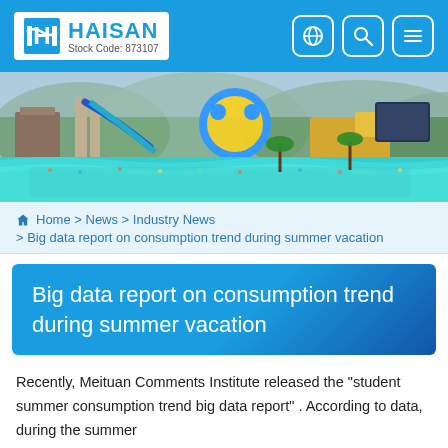HAISAN Stock Code: 873107
[Figure (photo): Aerial view of a water park with colorful slides, a large wave pool filled with people, and green hills in the background]
Home > News > Industry News > Big data report on consumption trend during summer vacation
Big data report on consumption trend during summer vacation
Recently, Meituan Comments Institute released the "student summer consumption trend big data report" . According to data, during the summer